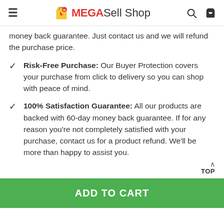MEGASell Shop
money back guarantee. Just contact us and we will refund the purchase price.
Risk-Free Purchase: Our Buyer Protection covers your purchase from click to delivery so you can shop with peace of mind.
100% Satisfaction Guarantee: All our products are backed with 60-day money back guarantee. If for any reason you're not completely satisfied with your purchase, contact us for a product refund. We'll be more than happy to assist you.
TOP